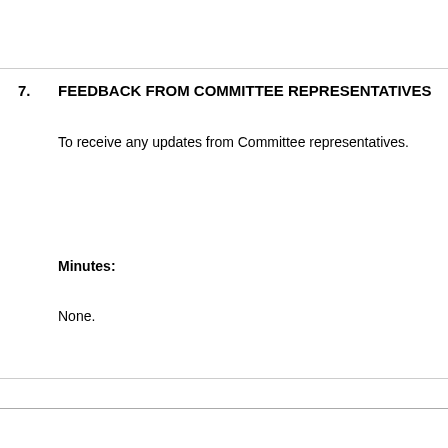7.    FEEDBACK FROM COMMITTEE REPRESENTATIVES
To receive any updates from Committee representatives.
Minutes:
None.